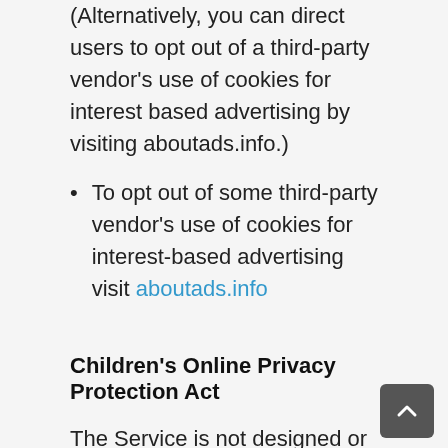(Alternatively, you can direct users to opt out of a third-party vendor's use of cookies for interest based advertising by visiting aboutads.info.)
To opt out of some third-party vendor's use of cookies for interest-based advertising visit aboutads.info
Children's Online Privacy Protection Act
The Service is not designed or intended for children under the age of thirteen (13).
When it comes to the collection of personal information from children under 13, the